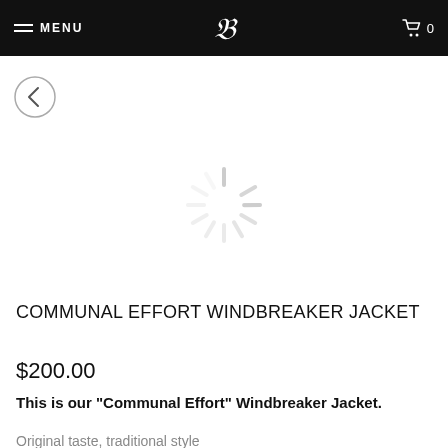MENU  [logo]  0
[Figure (screenshot): Back navigation arrow button (circle with left-pointing chevron)]
[Figure (illustration): Loading spinner graphic (radial lines in light gray)]
COMMUNAL EFFORT WINDBREAKER JACKET
$200.00
This is our "Communal Effort" Windbreaker Jacket.
Original taste, traditional style